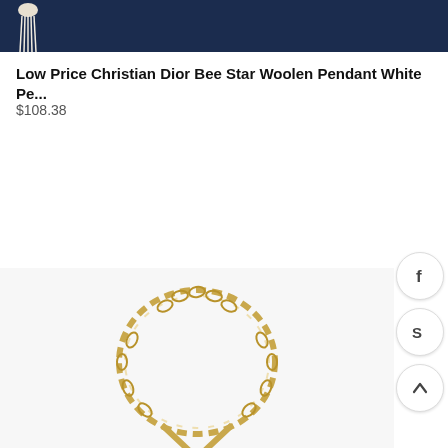[Figure (photo): Top portion of a product photo showing a dark navy blue background with a white tassel/charm accessory visible at the top left]
Low Price Christian Dior Bee Star Woolen Pendant White Pe...
$108.38
[Figure (photo): Gold chain necklace forming a teardrop/loop shape on a light gray/white background]
[Figure (other): Social sharing buttons on the right side: Facebook (f), Skype (S), and scroll-to-top (chevron up) buttons in circular frames]